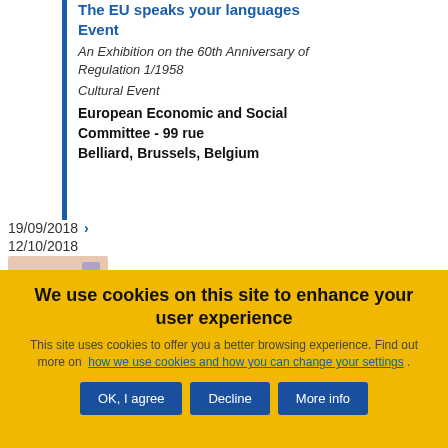The EU speaks your languages Event
An Exhibition on the 60th Anniversary of Regulation 1/1958
Cultural Event
European Economic and Social Committee - 99 rue Belliard, Brussels, Belgium
19/09/2018
12/10/2018
We use cookies on this site to enhance your user experience
This site uses cookies to offer you a better browsing experience. Find out more on how we use cookies and how you can change your settings .
OK, I agree | Decline | More info